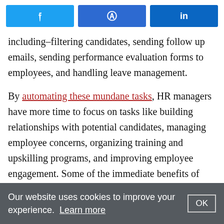[Figure (other): Social share buttons: Twitter, Facebook, LinkedIn]
including–filtering candidates, sending follow up emails, sending performance evaluation forms to employees, and handling leave management.
By automating these mundane tasks, HR managers have more time to focus on tasks like building relationships with potential candidates, managing employee concerns, organizing training and upskilling programs, and improving employee engagement. Some of the immediate benefits of introducing automation in the organization can include higher employee productivity, improved customer satisfaction, and faster time to market.
Our website uses cookies to improve your experience. Learn more